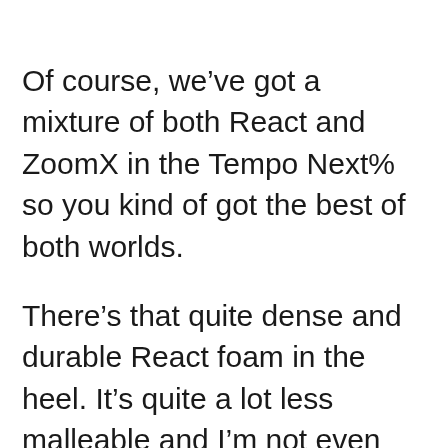Of course, we've got a mixture of both React and ZoomX in the Tempo Next% so you kind of got the best of both worlds.
There's that quite dense and durable React foam in the heel. It's quite a lot less malleable and I'm not even sure that this stuff is the same as the stuff that's in the Legend React 3 Shield.
Then of course in the other part of th